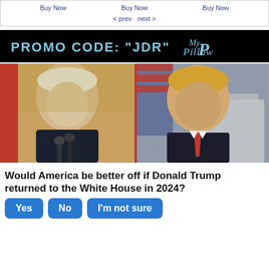Buy Now   Buy Now   Buy Now
< prev  next >
[Figure (infographic): MyPillow advertisement banner with black background, text: PROMO CODE: "JDR" MyPillow logo]
[Figure (photo): Side-by-side photo of Joe Biden (left, smiling at podium with American flag background) and Donald Trump (right, serious expression, White House background)]
Would America be better off if Donald Trump returned to the White House in 2024?
Yes   No   I'm not sure